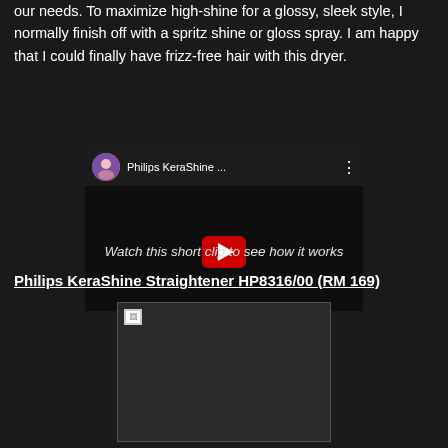our needs. To maximize high-shine for a glossy, sleek style, I normally finish off with a spritz shine or gloss spray. I am happy that I could finally have frizz-free hair with this dryer.
[Figure (screenshot): YouTube video embed showing Philips KeraShine video with play button and channel avatar]
Watch this short clip to see how it works
Philips KeraShine Straightener HP8316/00 (RM 169)
[Figure (photo): Product image placeholder (broken image icon) for Philips KeraShine Straightener HP8316/00]